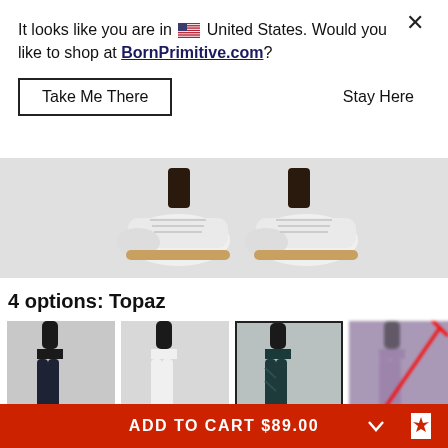It looks like you are in 🇺🇸 United States. Would you like to shop at BornPrimitive.com?
Take Me There
Stay Here
[Figure (photo): Close-up of white athletic shoes with gum sole on a light grey background]
4 options: Topaz
[Figure (photo): Four color option thumbnails of athletic leggings: dark navy, white, teal/dark (selected with border), and blurred purple with red X (out of stock)]
Size out of stock? Click it to get notified
ADD TO CART $89.00